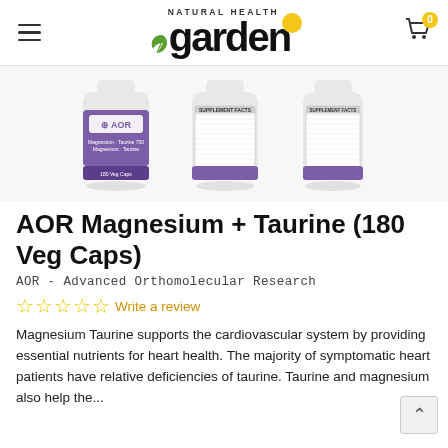Natural Health Garden — navigation header with hamburger menu and cart (0 items)
[Figure (photo): Three product bottles of AOR Magnesium + Taurine (180 Veg Caps). Left bottle shows front label with purple AOR branding. Middle and right bottles show back/side label views with nutrition facts panel.]
AOR Magnesium + Taurine (180 Veg Caps)
AOR - Advanced Orthomolecular Research
☆☆☆☆☆ Write a review
Magnesium Taurine supports the cardiovascular system by providing essential nutrients for heart health. The majority of symptomatic heart patients have relative deficiencies of taurine. Taurine and magnesium also help the...